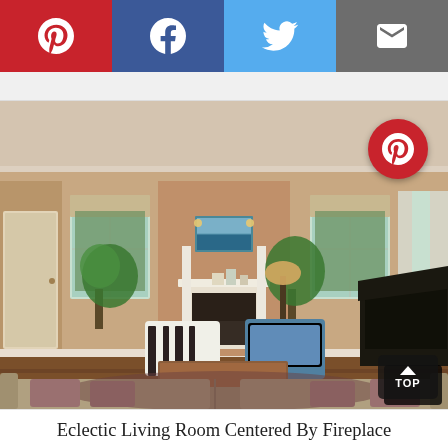[Figure (infographic): Social share bar with four buttons: Pinterest (red), Facebook (dark blue), Twitter (light blue), Email (gray)]
[Figure (photo): Interior photo of an eclectic living room with warm orange/peach walls, a white fireplace centered on the back wall with a seascape painting above it, zebra-print armchair, blue accent chair, grand piano on the right, large indoor plants, wood coffee table, and a tan sofa in the foreground. A red Pinterest circle button overlay is in the upper right, and a black TOP button overlay is in the lower right.]
Eclectic Living Room Centered By Fireplace